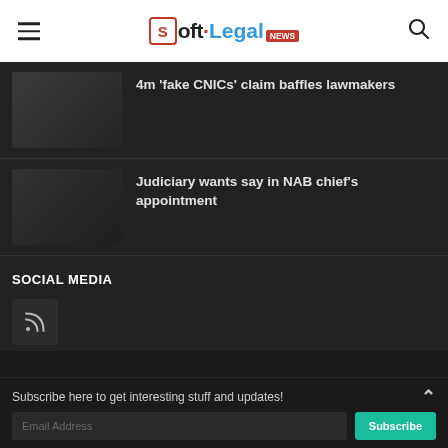[Figure (logo): Soft.Legal NEWS logo in header with hamburger menu and search icon]
4m ‘fake CNICs’ claim baffles lawmakers
Judiciary wants say in NAB chief’s appointment
SOCIAL MEDIA
[Figure (other): RSS feed icon button]
Subscribe here to get interesting stuff and updates!